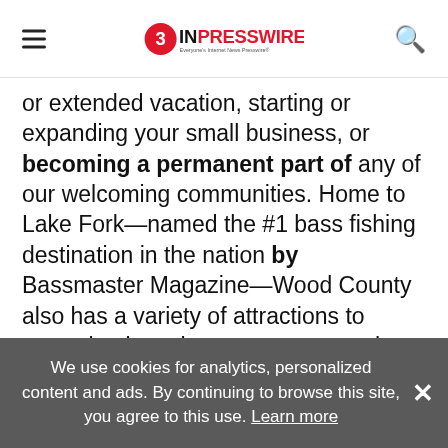EIN Presswire — Everyone's Internet News Presswire
or extended vacation, starting or expanding your small business, or becoming a permanent part of any of our welcoming communities. Home to Lake Fork—named the #1 bass fishing destination in the nation by Bassmaster Magazine—Wood County also has a variety of attractions to appeal to just about everyone, such as the Mineola Nature Preserve and the Links at Land's End golf course to name just two. Come to Wood County: "The Texas You Expect in a County You'll Love!" For more information visit http://loveWoodCounty...
We use cookies for analytics, personalized content and ads. By continuing to browse this site, you agree to this use. Learn more